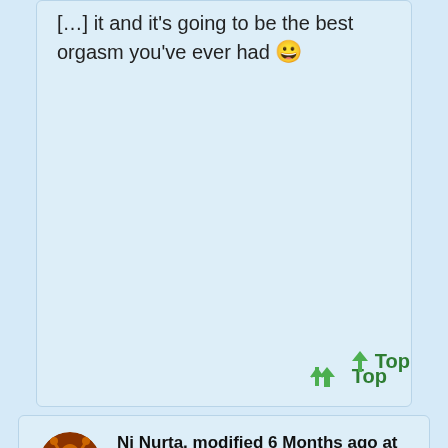[...] it and it's going to be the best orgasm you've ever had 😀
↑ Top
Ni Nurta, modified 6 Months ago at 2/13/22 1:28 PM
Created 6 Months ago at 2/13/22 1:28 PM
RE: Rebirth if all human life was extinguished
Posts: 931
Join Date: 2/22/20
Recent Posts
[Figure (other): Paragraph/text icon button]